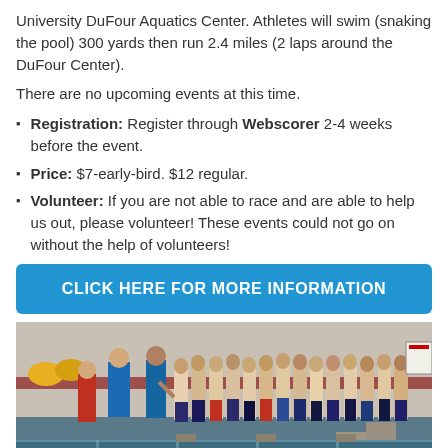University DuFour Aquatics Center. Athletes will swim (snaking the pool) 300 yards then run 2.4 miles (2 laps around the DuFour Center).
There are no upcoming events at this time.
Registration: Register through Webscorer 2-4 weeks before the event.
Price: $7-early-bird. $12 regular.
Volunteer: If you are not able to race and are able to help us out, please volunteer! These events could not go on without the help of volunteers!
CLICK HERE FOR MORE INFORMATION
[Figure (photo): A group of athletes in swimwear standing at the edge of an indoor pool, with a coach or official in a blue jacket addressing them before a race event at the DuFour Aquatics Center.]